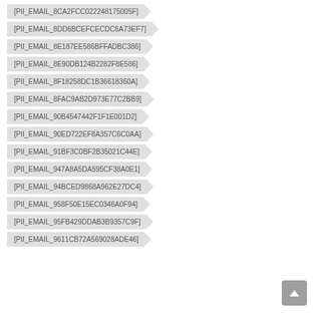[PII_EMAIL_8CA2FCC022248175005F]
[PII_EMAIL_8DD6BCEFCECDC6A73EF7]
[PII_EMAIL_8E187EE586BFFADBC386]
[PII_EMAIL_8E90DB124B2282F8E586]
[PII_EMAIL_8F18258DC1B36618360A]
[PII_EMAIL_8FAC9AB2D973E77C2BB9]
[PII_EMAIL_90B4547442F1F1E001D2]
[PII_EMAIL_90ED722EF8A357C6C0AA]
[PII_EMAIL_91BF3C0BF2B35021C44E]
[PII_EMAIL_947A8A5DA595CF38A0E1]
[PII_EMAIL_94BCED9868A962E27DC4]
[PII_EMAIL_958F50E15EC0346A0F94]
[PII_EMAIL_95FB429DDAB3B9357C9F]
[PII_EMAIL_9611CB72A569028ADE46]